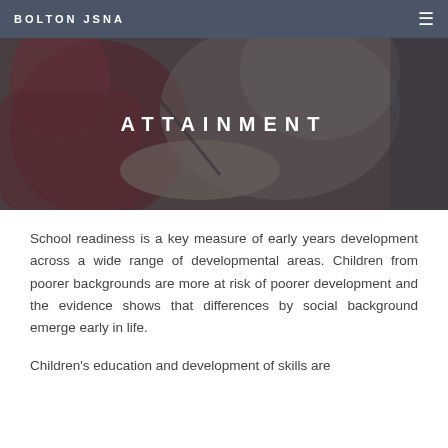BOLTON JSNA
[Figure (photo): Children writing or drawing at a table, photographed from above with a warm-toned overlay. A child in a red jacket is visible on the left.]
ATTAINMENT
School readiness is a key measure of early years development across a wide range of developmental areas. Children from poorer backgrounds are more at risk of poorer development and the evidence shows that differences by social background emerge early in life.
Children's education and development of skills are